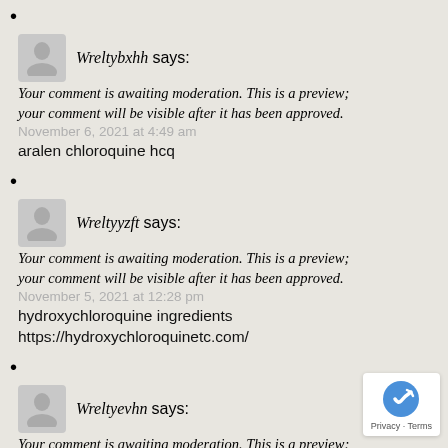•
Wreltybxhh says:
Your comment is awaiting moderation. This is a preview; your comment will be visible after it has been approved.
November 6, 2021 at 4:49 am
aralen chloroquine hcq
•
Wreltyyzft says:
Your comment is awaiting moderation. This is a preview; your comment will be visible after it has been approved.
November 5, 2021 at 12:28 pm
hydroxychloroquine ingredients https://hydroxychloroquinetc.com/
•
Wreltyevhn says:
Your comment is awaiting moderation. This is a preview; your comment will be visible after it has been approved.
November 5, 2021 at 11:38 am
•
Eruoouuuid says: